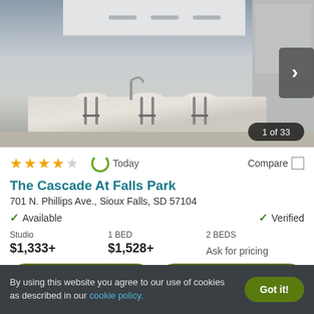[Figure (photo): Interior kitchen photo of apartment with marble countertop island, bar stools, white cabinets, stainless steel appliances. Badge shows '1 of 33'.]
★★★★☆  Today  Compare
The Cascade At Falls Park
701 N. Phillips Ave., Sioux Falls, SD 57104
✓ Available    ✓ Verified
Studio $1,333+   1 BED $1,528+   2 BEDS Ask for pricing
View Details   Contact Property
By using this website you agree to our use of cookies as described in our cookie policy.   Got it!